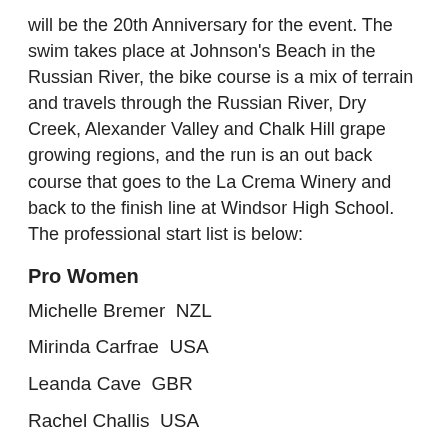will be the 20th Anniversary for the event. The swim takes place at Johnson's Beach in the Russian River, the bike course is a mix of terrain and travels through the Russian River, Dry Creek, Alexander Valley and Chalk Hill grape growing regions, and the run is an out back course that goes to the La Crema Winery and back to the finish line at Windsor High School. The professional start list is below:
Pro Women
Michelle Bremer  NZL
Mirinda Carfrae  USA
Leanda Cave  GBR
Rachel Challis  USA
Emily Cocks  USA